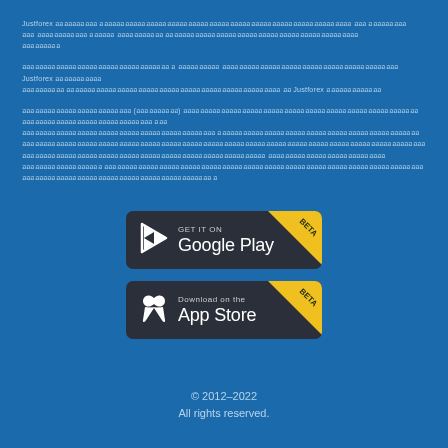Justforex [non-Latin text paragraph 1]
[non-Latin text paragraph 2] Justforex [non-Latin text] Justforex [non-Latin text]
[non-Latin text paragraph 3 with parenthetical content]
[Figure (other): GET IT ON Google Play — BETA badge button]
[Figure (other): Download on the App Store — BETA badge button]
© 2012–2022
All rights reserved.